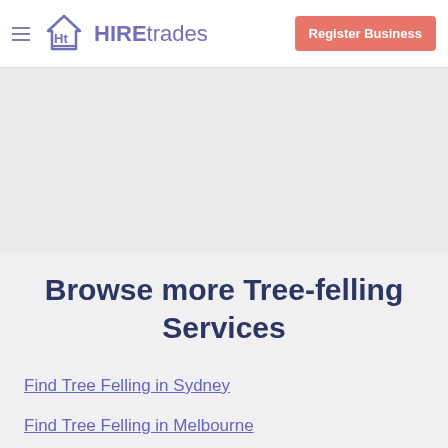HIREtrades — Register Business
Browse more Tree-felling Services
Find Tree Felling in Sydney
Find Tree Felling in Melbourne
Find Tree Felling in Brisbane
Find Tree Felling in Adelaide